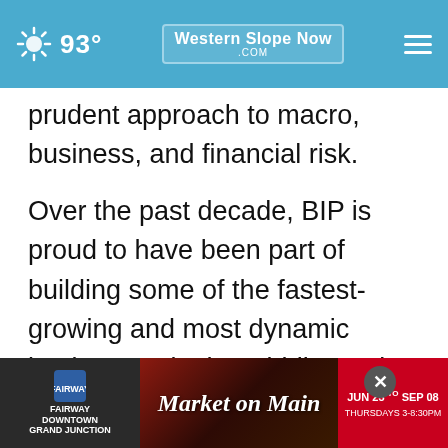93° | WesternSlopeNow.com
prudent approach to macro, business, and financial risk.

Over the past decade, BIP is proud to have been part of building some of the fastest-growing and most dynamic businesses in the middle-market U.S. building industry: U.S. LBM Holdings, Kodiak Building Partners, United Cabinet Holdings, Rugby Architectural Building Products, Homewood Holdings, and U.S. Fence Solutions... to seek
[Figure (screenshot): Advertisement banner for Fairway Downtown Grand Junction Market on Main event, JUN 23 to SEP 08, Thursdays 3-8pm, with food imagery and red/dark background]